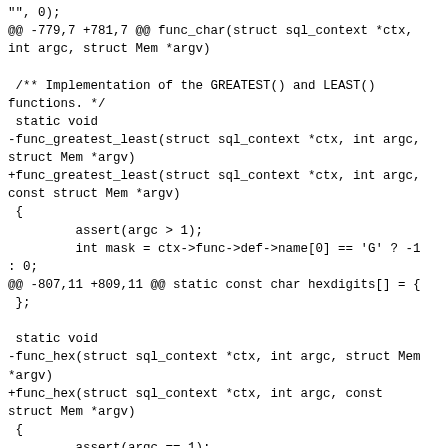"", 0);
@@ -779,7 +781,7 @@ func_char(struct sql_context *ctx, int argc, struct Mem *argv)

 /** Implementation of the GREATEST() and LEAST() functions. */
 static void
-func_greatest_least(struct sql_context *ctx, int argc, struct Mem *argv)
+func_greatest_least(struct sql_context *ctx, int argc, const struct Mem *argv)
 {
         assert(argc > 1);
         int mask = ctx->func->def->name[0] == 'G' ? -1 : 0;
@@ -807,11 +809,11 @@ static const char hexdigits[] = {
 };

 static void
-func_hex(struct sql_context *ctx, int argc, struct Mem *argv)
+func_hex(struct sql_context *ctx, int argc, const struct Mem *argv)
 {
         assert(argc == 1);
         (void)argc;
-        struct Mem *arg = &argv[0];
+        const struct Mem *arg = &argv[0];
         if (mem_is_null(arg))
                 return mem_set_null(ctx->pOut);